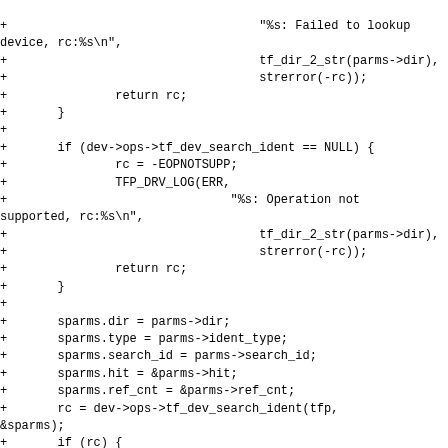+                                   "%s: Failed to lookup device, rc:%s\n",
+                                   tf_dir_2_str(parms->dir),
+                                   strerror(-rc));
+               return rc;
+       }
+
+       if (dev->ops->tf_dev_search_ident == NULL) {
+               rc = -EOPNOTSUPP;
+               TFP_DRV_LOG(ERR,
+                               "%s: Operation not supported, rc:%s\n",
+                                   tf_dir_2_str(parms->dir),
+                                   strerror(-rc));
+               return rc;
+       }
+
+       sparms.dir = parms->dir;
+       sparms.type = parms->ident_type;
+       sparms.search_id = parms->search_id;
+       sparms.hit = &parms->hit;
+       sparms.ref_cnt = &parms->ref_cnt;
+       rc = dev->ops->tf_dev_search_ident(tfp, &sparms);
+       if (rc) {
+               TFP_DRV_LOG(ERR,
+                               "%s: Identifier search failed, rc:%s\n",
+                                   tf_dir_2_str(parms->dir),
+                                   strerror(-rc));